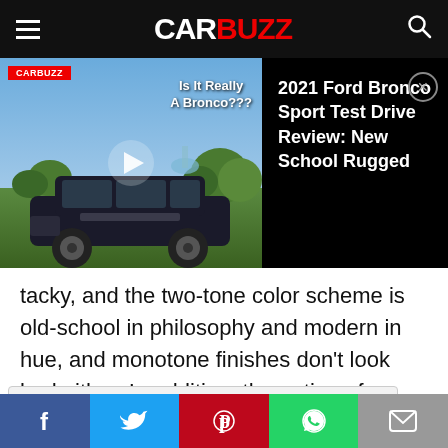CARBUZZ
[Figure (screenshot): Video thumbnail showing a 2021 Ford Bronco Sport SUV with text 'Is It Really A Bronco???' and a play button overlay, with CARBUZZ badge.]
2021 Ford Bronco Sport Test Drive Review: New School Rugged
tacky, and the two-tone color scheme is old-school in philosophy and modern in hue, and monotone finishes don't look bad either. In addition, the option of a two-tone interior adds a premium but fun feel. Simply put, this is clean and classy, giving diehard
[Figure (screenshot): Advertisement banner: Shred415 Sterling - Try Us For Free - LEARN MORE button]
Social share buttons: Facebook, Twitter, Pinterest, WhatsApp, Email